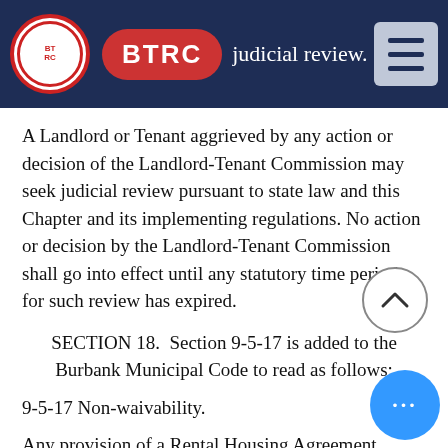BTRC | judicial review.
A Landlord or Tenant aggrieved by any action or decision of the Landlord-Tenant Commission may seek judicial review pursuant to state law and this Chapter and its implementing regulations. No action or decision by the Landlord-Tenant Commission shall go into effect until any statutory time period for such review has expired.
SECTION 18.  Section 9-5-17 is added to the Burbank Municipal Code to read as follows:
9-5-17 Non-waivability.
Any provision of a Rental Housing Agreement, whether oral or written, which purports to waive any provision of this Chapter established for the benefit